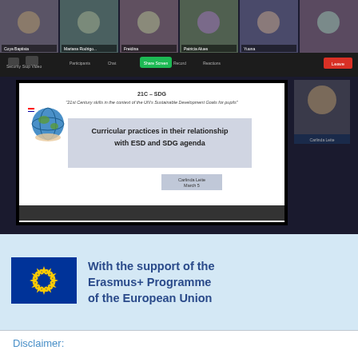[Figure (screenshot): Zoom video call screenshot showing multiple participant tiles at top and a presentation slide in the main area. The slide shows '21C – SDG' project title with subtitle about 21st Century skills and UN's Sustainable Development Goals for pupils. Main slide content reads: 'Curricular practices in their relationship with ESD and SDG agenda' by Carlinda Leite, March 5. A sidebar shows a presenter thumbnail.]
[Figure (logo): European Union flag with blue background and yellow stars arranged in a circle]
With the support of the Erasmus+ Programme of the European Union
Disclaimer: